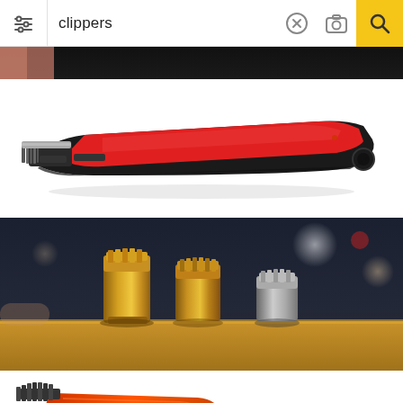[Figure (screenshot): Search bar UI with filter icon on left, text input showing 'clippers', X button, camera icon, and yellow search button on right]
[Figure (photo): Partial dark photo at top, cropped, showing a dark background]
[Figure (photo): Red and black professional hair clipper on white background, angled view showing blade and body]
[Figure (photo): Three gold and silver metallic hair clipper heads/blades standing upright on a wooden table in a barbershop setting]
[Figure (photo): Orange and black corded hair clipper with black power cord and plug, partially visible]